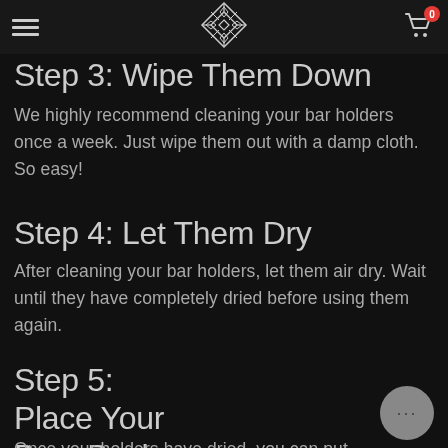Step 3: Wipe Them Down [navigation header with hamburger menu, logo, and cart icon showing 0]
Step 3: Wipe Them Down
We highly recommend cleaning your bar holders once a week. Just wipe them out with a damp cloth. So easy!
Step 4: Let Them Dry
After cleaning your bar holders, let them air dry. Wait until they have completely dried before using them again.
Step 5: Place Your Bars Back In The Holders
Once your holders have dried, you can put